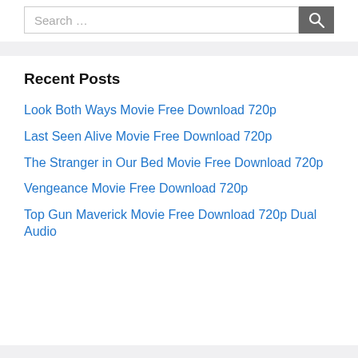[Figure (screenshot): Search bar with text input field showing placeholder 'Search …' and a dark gray search button with magnifying glass icon]
Recent Posts
Look Both Ways Movie Free Download 720p
Last Seen Alive Movie Free Download 720p
The Stranger in Our Bed Movie Free Download 720p
Vengeance Movie Free Download 720p
Top Gun Maverick Movie Free Download 720p Dual Audio